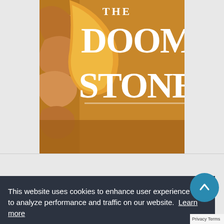[Figure (illustration): Book cover for 'The Doom Stone' showing stylized fantasy text with illustrated decorative elements including what appears to be teeth or stone textures in warm brown and gold tones.]
This website uses cookies to enhance user experience and to analyze performance and traffic on our website. Learn more
Got it!
Privacy Terms